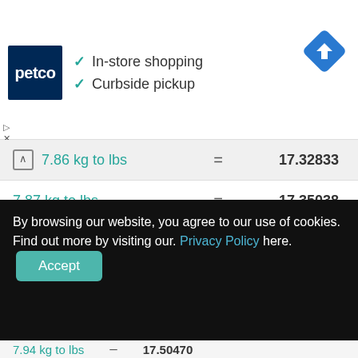[Figure (screenshot): Petco ad banner showing logo, In-store shopping and Curbside pickup checkmarks, and a blue navigation icon]
| Conversion | = | Result |
| --- | --- | --- |
| 7.86 kg to lbs | = | 17.32833 |
| 7.87 kg to lbs | = | 17.35038 |
| 7.88 kg to lbs | = | 17.37243 |
| 7.89 kg to lbs | = | 17.39447 |
| 7.9 kg to lbs | = | 17.41652 |
By browsing our website, you agree to our use of cookies. Find out more by visiting our. Privacy Policy here.
7.94 kg to lbs = 17.50470